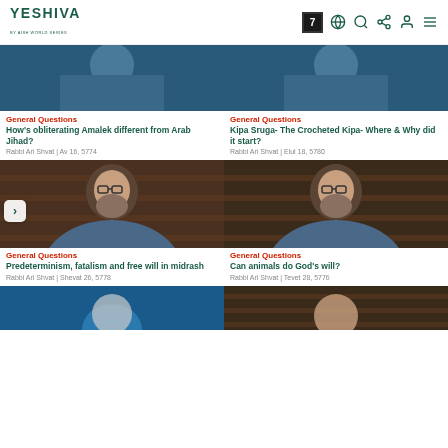YESHIVA - BY AISH WORLD SERIES
[Figure (screenshot): Thumbnail of rabbi in blue shirt against dark background]
General Questions
How's obliterating Amalek different from Arab Jihad?
Rabbi Ari Shvat | Av 16, 5774
[Figure (screenshot): Thumbnail of rabbi in blue shirt against dark background]
General Questions
Kipa Sruga- The Crocheted Kipa- Where & Why did it start?
Rabbi Ari Shvat | Elul 18, 5780
[Figure (screenshot): Thumbnail of bearded rabbi with glasses in front of bookshelves]
General Questions
Predeterminism, fatalism and free will in midrash
Rabbi Ari Shvat | Shevat 26, 5778
[Figure (screenshot): Thumbnail of bearded rabbi with glasses in front of bookshelves]
General Questions
Can animals do God's will?
Rabbi Ari Shvat | Tevet 28, 5776
[Figure (screenshot): Bottom thumbnail - blue background with circular element]
[Figure (screenshot): Bottom thumbnail - bookshelves background]